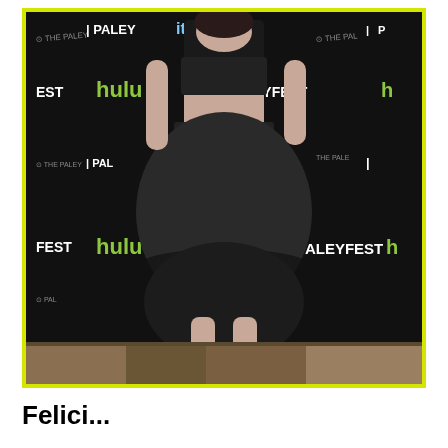[Figure (photo): A woman wearing a black two-piece outfit consisting of a crop top and a full midi skirt with sheer lace detailing near the hem, and black strappy heeled sandals. She is posing at a PaleyFest event with a step-and-repeat backdrop featuring PALEYFEST, hulu, citi, and Paley Center for Media logos. The photo has a yellow-green border.]
Felici...